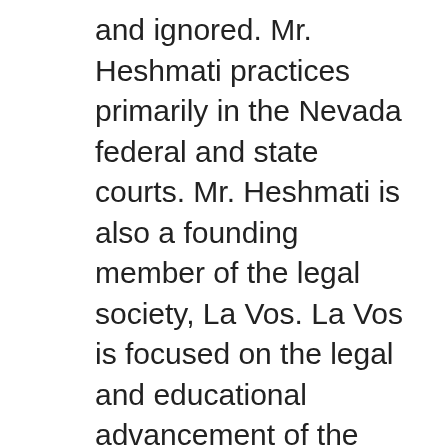and ignored. Mr. Heshmati practices primarily in the Nevada federal and state courts. Mr. Heshmati is also a founding member of the legal society, La Vos. La Vos is focused on the legal and educational advancement of the Latin American community. Mr. Heshmati has always believed in one thing: Hard work equates to great results for clients. In fact, he founded HALO Attorneys, a Las Vegas law firm, with that guiding principle at its core. Even while Mr. Heshmati earned his Juris Doctorate from the ranking William S. Boyd School of Law in Las Vegas, he practiced tirelessly at refining his advocacy in the mock courtrooms knowing that one day his clients would benefit from his hard work. Now with years of success in the courtroom Mr. Heshmati's foresight has paid off. Las Vegas Criminal Defense Lawyer Since Law School, Mr. Heshmati has defended thousands of individuals in the criminal justice arena. While Mr. Heshmati's practice primarily focuses on complex criminal defense, Mr. Heshmati has handled numerous matters involving allegations of: Murder/Homicide; Narcotics/Drug Trafficking and Possession; Fraud; Gambling Offenses; Assault; DUI...